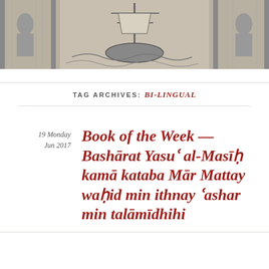[Figure (illustration): Black and white engraving showing a sailing ship in the center, flanked by architectural columns and decorative figures, forming a header banner image.]
TAG ARCHIVES: BI-LINGUAL
19 Monday
Jun 2017
Book of the Week — Bashārat Yasuʿ al-Masīḥ kamā kataba Mār Mattay waḥid min ithnay ʿashar min talāmīdhihi